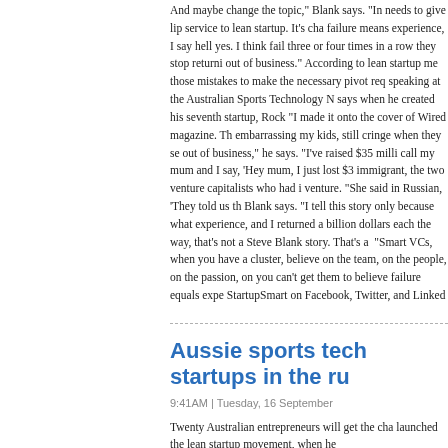And maybe change the topic," Blank says. "In needs to give lip service to lean startup. It's cha failure means experience, I say hell yes. I think fail three or four times in a row they stop returni out of business." According to lean startup me those mistakes to make the necessary pivot req speaking at the Australian Sports Technology N says when he created his seventh startup, Rock "I made it onto the cover of Wired magazine. Th embarrassing my kids, still cringe when they se out of business," he says. "I've raised $35 milli call my mum and I say, 'Hey mum, I just lost $3 immigrant, the two venture capitalists who had i venture. "She said in Russian, 'They told us th Blank says. "I tell this story only because what experience, and I returned a billion dollars each the way, that's not a Steve Blank story. That's a "Smart VCs, when you have a cluster, believe on the team, on the people, on the passion, on you can't get them to believe failure equals expe StartupSmart on Facebook, Twitter, and Linked
Aussie sports tech startups in the ru
9:41AM | Tuesday, 16 September
Twenty Australian entrepreneurs will get the cha launched the lean startup movement, when he